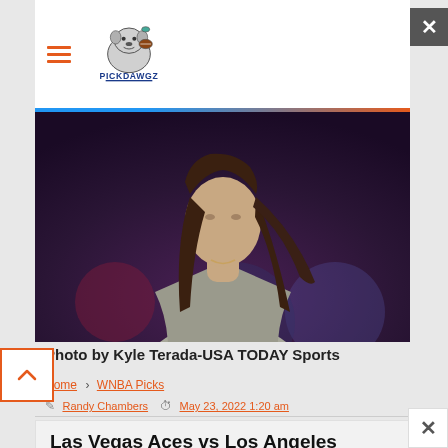PICKDAWGZ (logo/navigation header)
[Figure (photo): Photo of a woman with long dark hair wearing a grey cardigan and white shirt, photographed at a sports arena. Background is blurred with purple/dark tones.]
Photo by Kyle Terada-USA TODAY Sports
Home > WNBA Picks
Randy Chambers  May 23, 2022 1:20 am
Las Vegas Aces vs Los Angeles Sparks